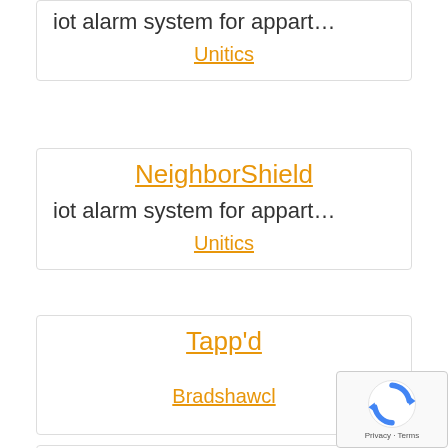iot alarm system for appart...
Unitics
NeighborShield
iot alarm system for appart...
Unitics
Tapp'd
Bradshawcl
Looking Glass Cellars